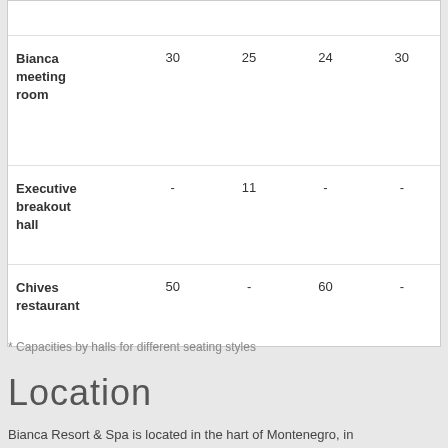| Room | Col1 | Col2 | Col3 | Col4 |
| --- | --- | --- | --- | --- |
| Bianca meeting room | 30 | 25 | 24 | 30 |
| Executive breakout hall | - | 11 | - | - |
| Chives restaurant | 50 | - | 60 | - |
* Capacities by halls for different seating styles
Location
Bianca Resort & Spa is located in the hart of Montenegro, in